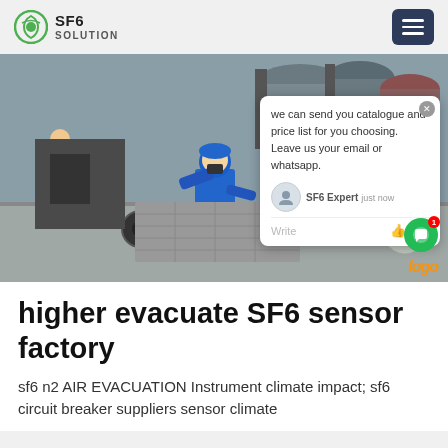SF6 SOLUTION
[Figure (photo): Worker in blue coveralls and blue hard hat using a tool on equipment at an industrial facility. A chat popup overlay is visible on the right side of the image with the text: 'we can send you catalogue and price list for you choosing. Leave us your email or whatsapp.' Attributed to SF6 Expert, just now.]
higher evacuate SF6 sensor factory
sf6 n2 AIR EVACUATION Instrument climate impact; sf6 circuit breaker suppliers sensor climate